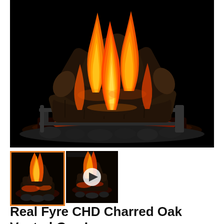[Figure (photo): Main product photo of Real Fyre CHD Charred Oak Vented Gas Logs set with glowing flames and embers against a black background]
[Figure (photo): Selected thumbnail showing the gas log set with flames, highlighted with orange border]
[Figure (photo): Video thumbnail showing the gas log set with a play button overlay]
Real Fyre CHD Charred Oak Vented Gas Logs